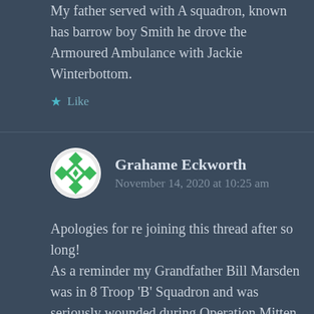My father served with A squadron, known has barrow boy Smith he drove the Armoured Ambulance with Jackie Winterbottom.
★ Like
Grahame Eckworth
November 14, 2020 at 10:25 am
Apologies for re joining this thread after so long! As a reminder my Grandfather Bill Marsden was in 8 Troop 'B' Squadron and was seriously wounded during Operation Mitten on 27th June 1944